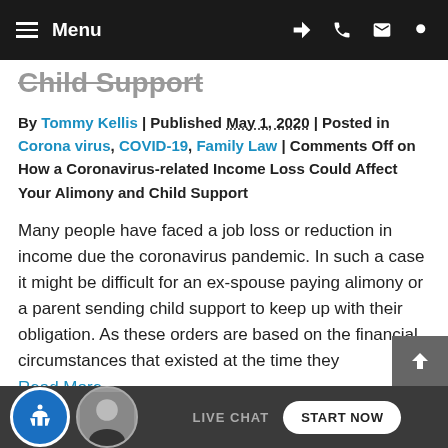Menu
Child Support
By Tommy Kellis | Published May 1, 2020 | Posted in Corona virus, COVID-19, Family Law | Comments Off on How a Coronavirus-related Income Loss Could Affect Your Alimony and Child Support
Many people have faced a job loss or reduction in income due the coronavirus pandemic. In such a case it might be difficult for an ex-spouse paying alimony or a parent sending child support to keep up with their obligation. As these orders are based on the financial circumstances that existed at the time they
Read More
LIVE CHAT   START NOW